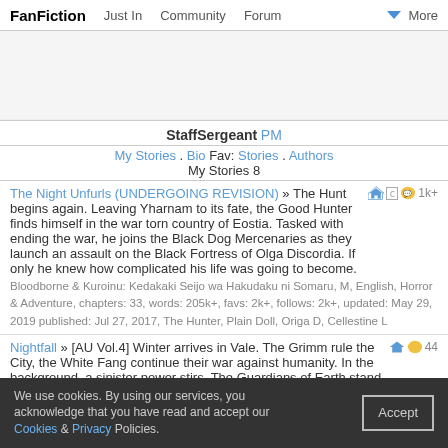FanFiction  Just In  Community  Forum  More
[Figure (other): Advertisement banner space]
StaffSergeant PM
My Stories . Bio Fav: Stories . Authors
My Stories 8
The Night Unfurls (UNDERGOING REVISION) » The Hunt begins again. Leaving Yharnam to its fate, the Good Hunter finds himself in the war torn country of Eostia. Tasked with ending the war, he joins the Black Dog Mercenaries as they launch an assault on the Black Fortress of Olga Discordia. If only he knew how complicated his life was going to become.
Bloodborne & Kuroinu: Kedakaki Seijo wa Hakudaku ni Somaru, M, English, Horror & Adventure, chapters: 33, words: 205k+, favs: 2k+, follows: 2k+, updated: May 29, 2019 published: Jul 27, 2017, The Hunter, Plain Doll, Origa D, Cellestine L
Nightfall » [AU Vol.4] Winter arrives in Vale. The Grimm rule the City, the White Fang continue their war against humanity. In the background, a sinister power stirs. The Guardians of Earth stand united
We use cookies. By using our services, you acknowledge that you have read and accept our Cookies & Privacy Policies.
Accept